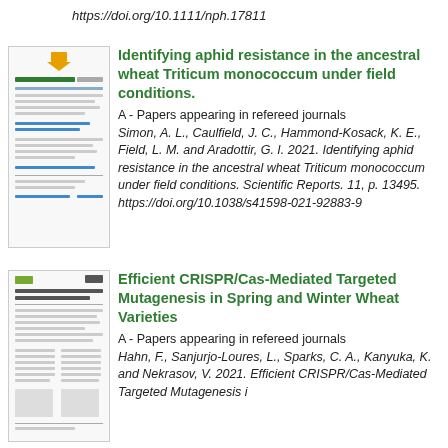https://doi.org/10.1111/nph.17811
[Figure (screenshot): Thumbnail of academic paper page for aphid resistance article]
Identifying aphid resistance in the ancestral wheat Triticum monococcum under field conditions.
A - Papers appearing in refereed journals
Simon, A. L., Caulfield, J. C., Hammond-Kosack, K. E., Field, L. M. and Aradottir, G. I. 2021. Identifying aphid resistance in the ancestral wheat Triticum monococcum under field conditions. Scientific Reports. 11, p. 13495. https://doi.org/10.1038/s41598-021-92883-9
[Figure (screenshot): Thumbnail of academic paper page for CRISPR article]
Efficient CRISPR/Cas-Mediated Targeted Mutagenesis in Spring and Winter Wheat Varieties
A - Papers appearing in refereed journals
Hahn, F., Sanjurjo-Loures, L., Sparks, C. A., Kanyuka, K. and Nekrasov, V. 2021. Efficient CRISPR/Cas-Mediated Targeted Mutagenesis i...